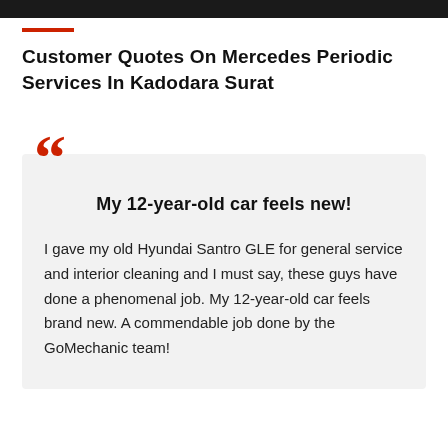[Figure (photo): Dark header image strip at top of page]
Customer Quotes On Mercedes Periodic Services In Kadodara Surat
My 12-year-old car feels new!
I gave my old Hyundai Santro GLE for general service and interior cleaning and I must say, these guys have done a phenomenal job. My 12-year-old car feels brand new. A commendable job done by the GoMechanic team!